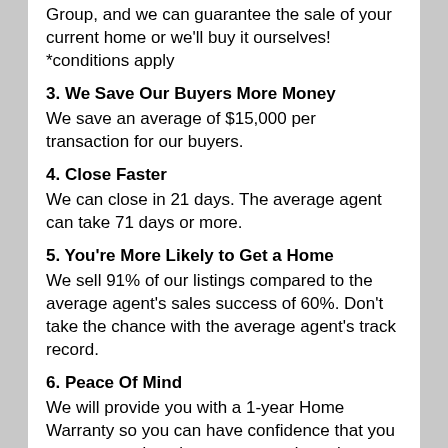Group, and we can guarantee the sale of your current home or we'll buy it ourselves! *conditions apply
3. We Save Our Buyers More Money
We save an average of $15,000 per transaction for our buyers.
4. Close Faster
We can close in 21 days. The average agent can take 71 days or more.
5. You're More Likely to Get a Home
We sell 91% of our listings compared to the average agent's sales success of 60%. Don't take the chance with the average agent's track record.
6. Peace Of Mind
We will provide you with a 1-year Home Warranty so you can have confidence that you are protected against unexpected repairs.
7. Guarantee To Save You Money
We guarantee to save you money on the asking